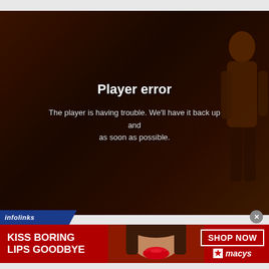[Figure (screenshot): Video player showing a player error screen with dark reddish-brown background and a silhouette of a person on the right side]
Player error
The player is having trouble. We'll have it back up and as soon as possible.
infolinks
[Figure (photo): Advertisement banner for Macy's featuring a woman with red lips. Text reads KISS BORING LIPS GOODBYE with SHOP NOW button and Macy's star logo]